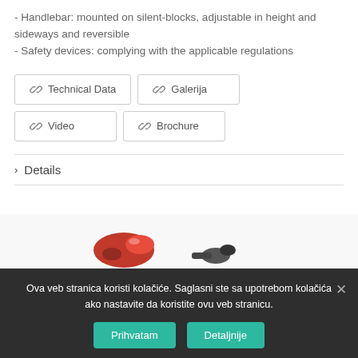- Handlebar: mounted on silent-blocks, adjustable in height and sideways and reversible
- Safety devices: complying with the applicable regulations
🔗 Technical Data   🔗 Galerija   🔗 Video   🔗 Brochure
> Details
[Figure (photo): Partial photo of a red mechanical part/device at bottom of page]
Ova veb stranica koristi kolačiće. Saglasni ste sa upotrebom kolačića ako nastavite da koristite ovu veb stranicu.
Prihvatam   Detaljnije